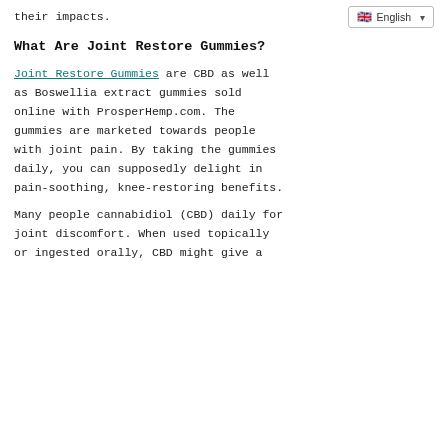their impacts.
🇬🇧 English ▾
What Are Joint Restore Gummies?
Joint Restore Gummies are CBD as well as Boswellia extract gummies sold online with ProsperHemp.com. The gummies are marketed towards people with joint pain. By taking the gummies daily, you can supposedly delight in pain-soothing, knee-restoring benefits.
Many people cannabidiol (CBD) daily for joint discomfort. When used topically or ingested orally, CBD might give a